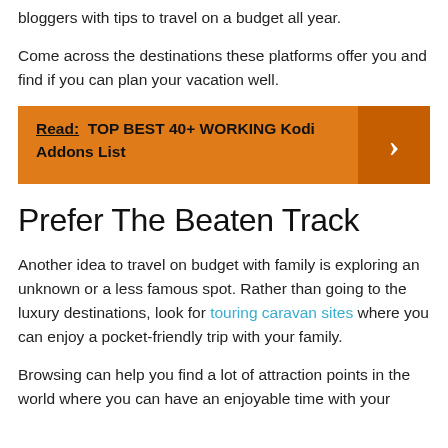bloggers with tips to travel on a budget all year.
Come across the destinations these platforms offer you and find if you can plan your vacation well.
Read: TOP BEST 40+ WORKING Kodi Addons List
Prefer The Beaten Track
Another idea to travel on budget with family is exploring an unknown or a less famous spot. Rather than going to the luxury destinations, look for touring caravan sites where you can enjoy a pocket-friendly trip with your family.
Browsing can help you find a lot of attraction points in the world where you can have an enjoyable time with your